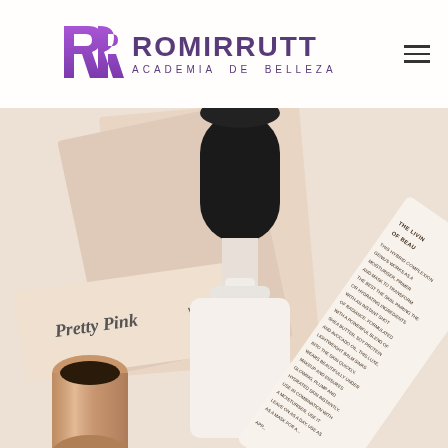[Figure (logo): Romirrutt Academia de Belleza logo with stylized RR monogram in purple]
[Figure (photo): Flat lay photo of beauty/cosmetic products including a pump bottle with black cap, rose gold tube cap, product packaging labeled 'Pretty Pink W', and a white cosmetic tube with descriptive text about a hybrid complexion product]